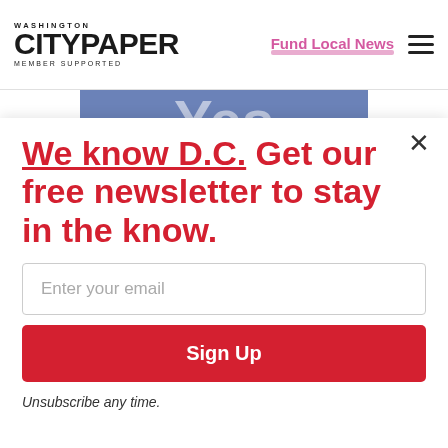WASHINGTON CITYPAPER MEMBER SUPPORTED
Fund Local News
[Figure (screenshot): Blue banner strip with partial large white text, cropped at top of modal]
We know D.C. Get our free newsletter to stay in the know.
Enter your email
Sign Up
Unsubscribe any time.